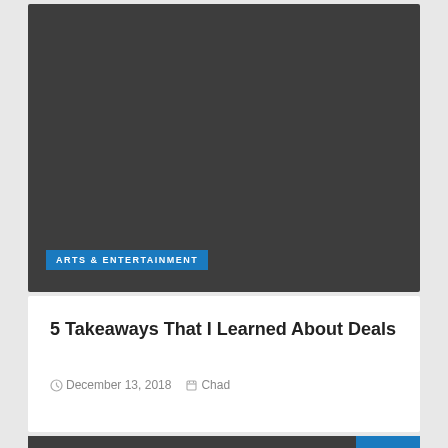[Figure (photo): Dark gray image placeholder area for a card on a website]
ARTS & ENTERTAINMENT
5 Takeaways That I Learned About Deals
December 13, 2018   Chad
[Figure (other): Dark gray image placeholder area at the bottom, with a blue scroll-to-top button with an upward chevron arrow]